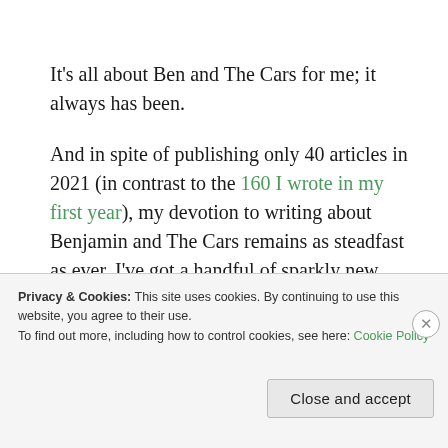It's all about Ben and The Cars for me; it always has been.
And in spite of publishing only 40 articles in 2021 (in contrast to the 160 I wrote in my first year), my devotion to writing about Benjamin and The Cars remains as steadfast as ever. I've got a handful of sparkly new things to share with you in the months to come, including endearing photos and personal
Privacy & Cookies: This site uses cookies. By continuing to use this website, you agree to their use.
To find out more, including how to control cookies, see here: Cookie Policy
Close and accept